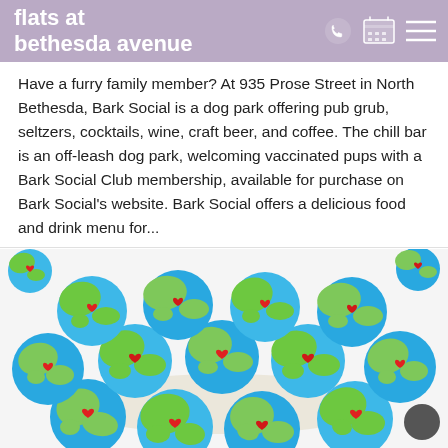flats at bethesda avenue
Have a furry family member? At 935 Prose Street in North Bethesda, Bark Social is a dog park offering pub grub, seltzers, cocktails, wine, craft beer, and coffee. The chill bar is an off-leash dog park, welcoming vaccinated pups with a Bark Social Club membership, available for purchase on Bark Social's website. Bark Social offers a delicious food and drink menu for...
READ MORE
[Figure (photo): A pile of round cookies decorated to look like Earth globes — blue and green swirled dough with small red heart accents, arranged in a basket on a white surface.]